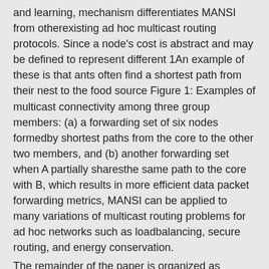and learning, mechanism differentiates MANSI from otherexisting ad hoc multicast routing protocols. Since a node's cost is abstract and may be defined to represent different 1An example of these is that ants often find a shortest path from their nest to the food source Figure 1: Examples of multicast connectivity among three group members: (a) a forwarding set of six nodes formedby shortest paths from the core to the other two members, and (b) another forwarding set when A partially sharesthe same path to the core with B, which results in more efficient data packet forwarding metrics, MANSI can be applied to many variations of multicast routing problems for ad hoc networks such as loadbalancing, secure routing, and energy conservation.
The remainder of the paper is organized as follows. We first describe the motivation and overview of the MANSI protocol in the next section. Section 3 explains the protocol in details. Simulation results are then presented anddiscussed in Section 4. Related works are reviewed in Section 5. And Section 6 concludes the paper with future research